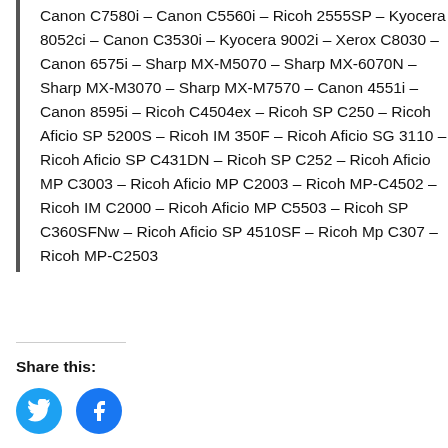Canon C7580i – Canon C5560i – Ricoh 2555SP – Kyocera 8052ci – Canon C3530i – Kyocera 9002i – Xerox C8030 – Canon 6575i – Sharp MX-M5070 – Sharp MX-6070N – Sharp MX-M3070 – Sharp MX-M7570 – Canon 4551i – Canon 8595i – Ricoh C4504ex – Ricoh SP C250 – Ricoh Aficio SP 5200S – Ricoh IM 350F – Ricoh Aficio SG 3110 – Ricoh Aficio SP C431DN – Ricoh SP C252 – Ricoh Aficio MP C3003 – Ricoh Aficio MP C2003 – Ricoh MP-C4502 – Ricoh IM C2000 – Ricoh Aficio MP C5503 – Ricoh SP C360SFNw – Ricoh Aficio SP 4510SF – Ricoh Mp C307 – Ricoh MP-C2503
Share this: